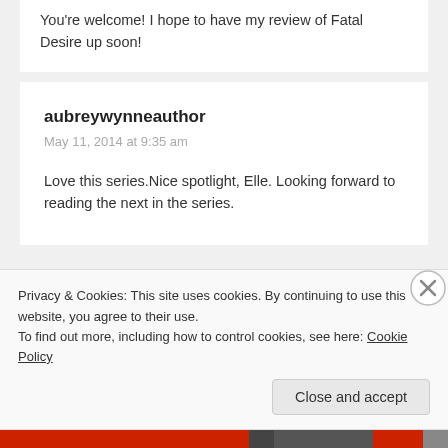You're welcome! I hope to have my review of Fatal Desire up soon!
aubreywynneauthor
May 11, 2014 at 9:35 am

Love this series.Nice spotlight, Elle. Looking forward to reading the next in the series.
Leave a Reply
Privacy & Cookies: This site uses cookies. By continuing to use this website, you agree to their use.
To find out more, including how to control cookies, see here: Cookie Policy